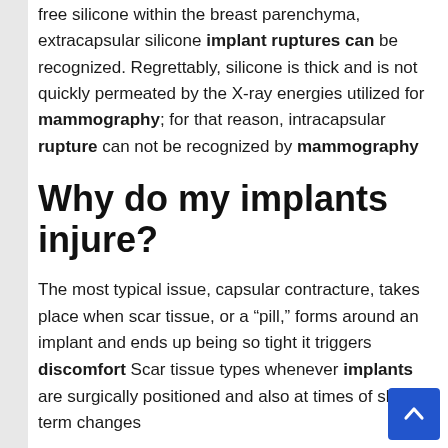free silicone within the breast parenchyma, extracapsular silicone implant ruptures can be recognized. Regrettably, silicone is thick and is not quickly permeated by the X-ray energies utilized for mammography; for that reason, intracapsular rupture can not be recognized by mammography
Why do my implants injure?
The most typical issue, capsular contracture, takes place when scar tissue, or a “pill,” forms around an implant and ends up being so tight it triggers discomfort Scar tissue types whenever implants are surgically positioned and also at times of short-term changes